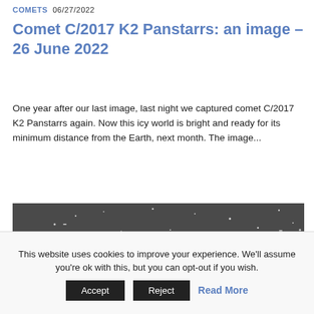COMETS  06/27/2022
Comet C/2017 K2 Panstarrs: an image – 26 June 2022
One year after our last image, last night we captured comet C/2017 K2 Panstarrs again. Now this icy world is bright and ready for its minimum distance from the Earth, next month. The image...
[Figure (photo): Grayscale astronomical image showing a star field with the comet C/2017 K2 Panstarrs visible as a bright fuzzy spot near the bottom center, surrounded by numerous stars appearing as small white dots on a dark gray background.]
This website uses cookies to improve your experience. We'll assume you're ok with this, but you can opt-out if you wish. Accept  Reject  Read More